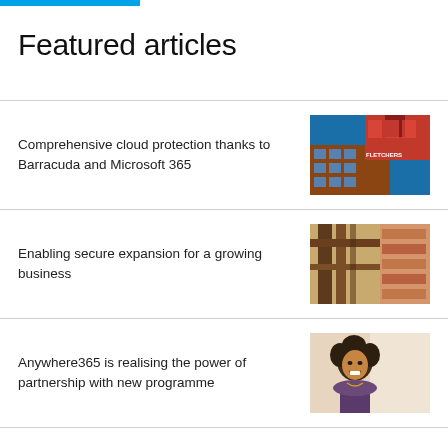Featured articles
Comprehensive cloud protection thanks to Barracuda and Microsoft 365
[Figure (photo): Exterior of a building with red and blue panels, Fletchers signage visible]
Enabling secure expansion for a growing business
[Figure (photo): Industrial workshop scene with wooden beams and shelving in background]
Anywhere365 is realising the power of partnership with new programme
[Figure (photo): Smiling woman with curly hair in a bright, casual setting]